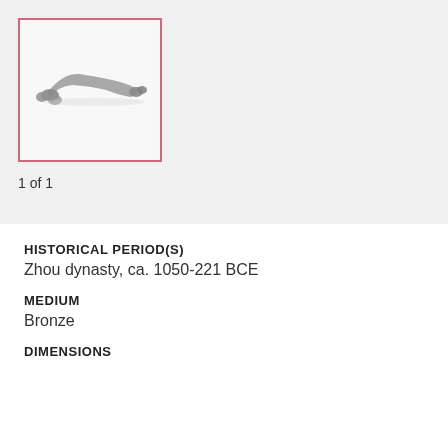[Figure (photo): Thumbnail photo of a small bronze fragment artifact, curved/arched shape, gray metallic color, on white background, surrounded by a pink/rose border frame.]
1 of 1
HISTORICAL PERIOD(S)
Zhou dynasty, ca. 1050-221 BCE
MEDIUM
Bronze
DIMENSIONS